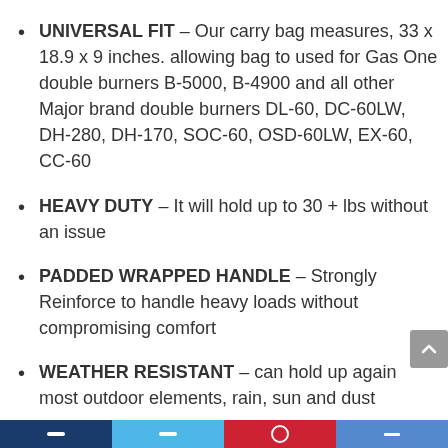UNIVERSAL FIT – Our carry bag measures, 33 x 18.9 x 9 inches. allowing bag to used for Gas One double burners B-5000, B-4900 and all other Major brand double burners DL-60, DC-60LW, DH-280, DH-170, SOC-60, OSD-60LW, EX-60, CC-60
HEAVY DUTY – It will hold up to 30 + lbs without an issue
PADDED WRAPPED HANDLE – Strongly Reinforce to handle heavy loads without compromising comfort
WEATHER RESISTANT – can hold up again most outdoor elements, rain, sun and dust
LARGE ZIPPERS – for easy and smooth zipping